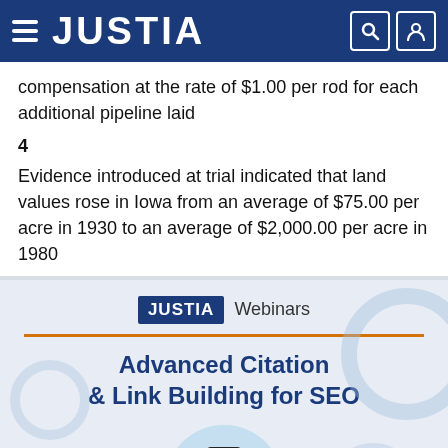JUSTIA
compensation at the rate of $1.00 per rod for each additional pipeline laid
Evidence introduced at trial indicated that land values rose in Iowa from an average of $75.00 per acre in 1930 to an average of $2,000.00 per acre in 1980
[Figure (infographic): JUSTIA Webinars advertisement banner featuring an orange divider line, title 'Advanced Citation & Link Building for SEO', and a circular photo of a man wearing a JUSTIA cap]